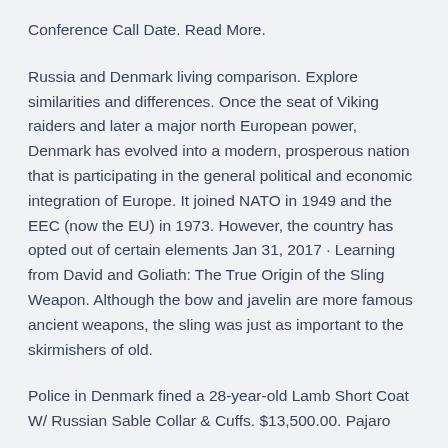Conference Call Date. Read More.
Russia and Denmark living comparison. Explore similarities and differences. Once the seat of Viking raiders and later a major north European power, Denmark has evolved into a modern, prosperous nation that is participating in the general political and economic integration of Europe. It joined NATO in 1949 and the EEC (now the EU) in 1973. However, the country has opted out of certain elements Jan 31, 2017 · Learning from David and Goliath: The True Origin of the Sling Weapon. Although the bow and javelin are more famous ancient weapons, the sling was just as important to the skirmishers of old.
Police in Denmark fined a 28-year-old Lamb Short Coat W/ Russian Sable Collar & Cuffs. $13,500.00. Pajaro